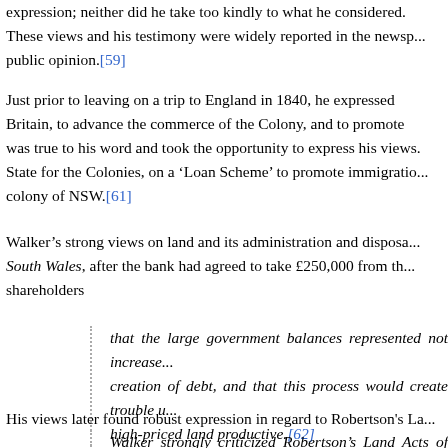expression; neither did he take too kindly to what he considered. These views and his testimony were widely reported in the newspaper public opinion.[59]
Just prior to leaving on a trip to England in 1840, he expressed Britain, to advance the commerce of the Colony, and to promote was true to his word and took the opportunity to express his views State for the Colonies, on a ‘Loan Scheme’ to promote immigration colony of NSW.[61]
Walker’s strong views on land and its administration and disposal South Wales, after the bank had agreed to take £250,000 from the shareholders
that the large government balances represented not increase creation of debt, and that this process would create trouble u high-priced land productive.[62]
His views later found robust expression in regard to Robertson's La
Walker strongly criticized Robertson’s Land Acts of 1861. Wh Walker wrote several pamphlets condemning the policy of fre Acts did irreparable injury to the pastoral industry and the St